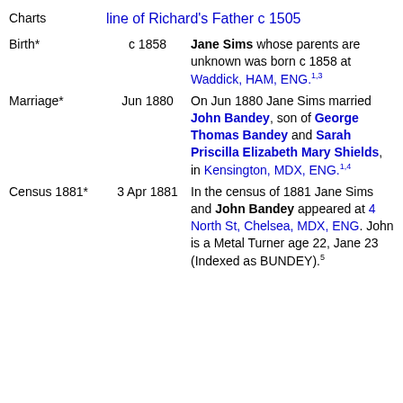Charts   line of Richard's Father c 1505
Birth*   c 1858   Jane Sims whose parents are unknown was born c 1858 at Waddick, HAM, ENG.1,3
Marriage*   Jun 1880   On Jun 1880 Jane Sims married John Bandey, son of George Thomas Bandey and Sarah Priscilla Elizabeth Mary Shields, in Kensington, MDX, ENG.1,4
Census 1881*   3 Apr 1881   In the census of 1881 Jane Sims and John Bandey appeared at 4 North St, Chelsea, MDX, ENG. John is a Metal Turner age 22, Jane 23 (Indexed as BUNDEY).5